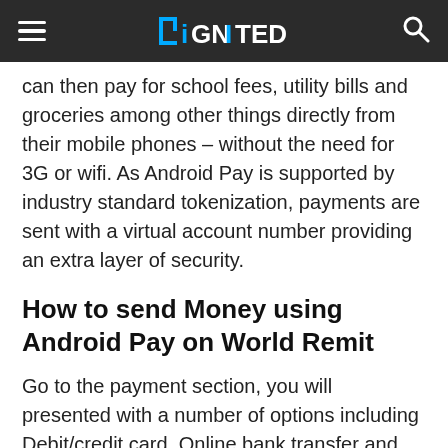DiGNITED
can then pay for school fees, utility bills and groceries among other things directly from their mobile phones – without the need for 3G or wifi. As Android Pay is supported by industry standard tokenization, payments are sent with a virtual account number providing an extra layer of security.
How to send Money using Android Pay on World Remit
Go to the payment section, you will presented with a number of options including Debit/credit card, Online bank transfer and Android Pay. Select Android Pay. Next confirm with your desired card and then finally click Pay now.